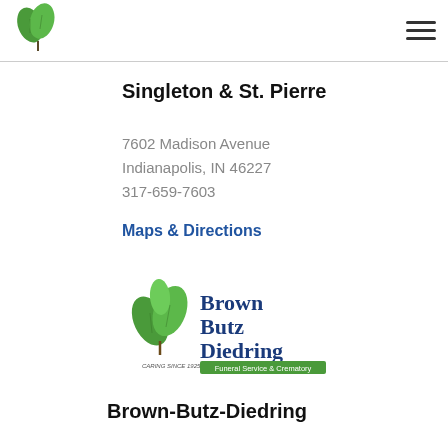[Figure (logo): Green leaf logo in top left header]
[Figure (logo): Hamburger menu icon (three horizontal lines) in top right header]
Singleton & St. Pierre
7602 Madison Avenue
Indianapolis, IN 46227
317-659-7603
Maps & Directions
[Figure (logo): Brown Butz Diedring Funeral Service & Crematory logo with green leaf and blue text]
Brown-Butz-Diedring